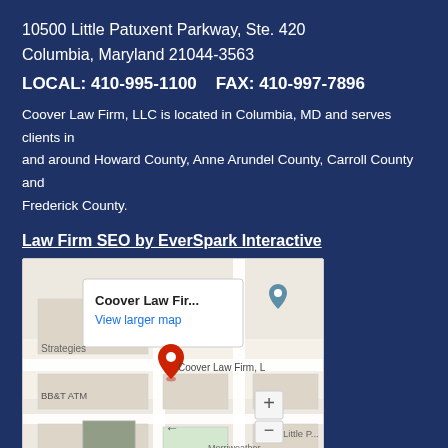10500 Little Patuxent Parkway, Ste. 420
Columbia, Maryland 21044-3563
LOCAL: 410-995-1100    FAX: 410-997-7896
Coover Law Firm, LLC is located in Columbia, MD and serves clients in and around Howard County, Anne Arundel County, Carroll County and Frederick County.
Law Firm SEO by EverSpark Interactive
[Figure (map): Google Maps screenshot showing Coover Law Firm location near Little Patuxent Parkway, Columbia MD. Shows BB&T ATM, Strategies, Merriweather Pavilion Parking nearby. Map data ©2019.]